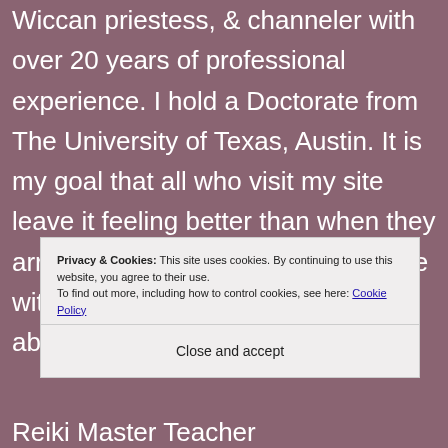Wiccan priestess, & channeler with over 20 years of professional experience. I hold a Doctorate from The University of Texas, Austin. It is my goal that all who visit my site leave it feeling better than when they arrived. Please feel free to email me with any questions or concerns about my Services.
Privacy & Cookies: This site uses cookies. By continuing to use this website, you agree to their use.
To find out more, including how to control cookies, see here: Cookie Policy
Close and accept
Reiki Master Teacher